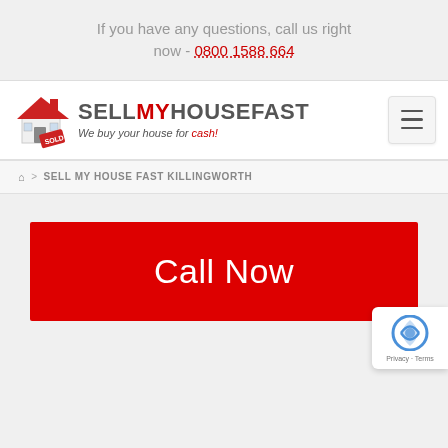If you have any questions, call us right now - 0800 1588 664
[Figure (logo): Sell My House Fast logo with house illustration and tagline 'We buy your house for cash!']
SELL MY HOUSE FAST KILLINGWORTH
Call Now
[Figure (other): Google reCAPTCHA badge with Privacy and Terms links]